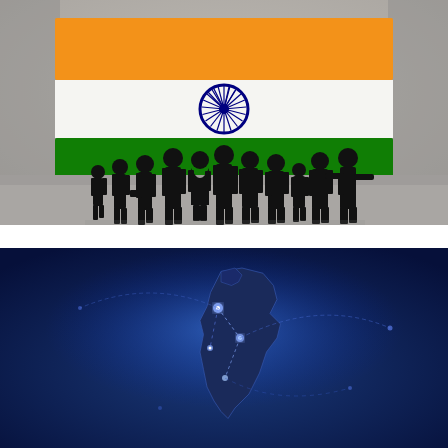[Figure (photo): Silhouettes of business people standing in front of a large painted Indian flag (saffron/white/green with Ashoka Chakra) on a concrete wall.]
[Figure (photo): Glowing blue network map of India with dotted connection lines against a dark blue background.]